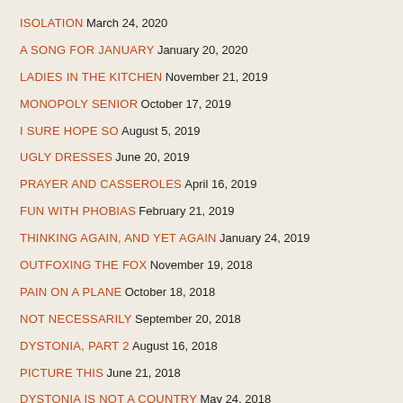ISOLATION March 24, 2020
A SONG FOR JANUARY January 20, 2020
LADIES IN THE KITCHEN November 21, 2019
MONOPOLY SENIOR October 17, 2019
I SURE HOPE SO August 5, 2019
UGLY DRESSES June 20, 2019
PRAYER AND CASSEROLES April 16, 2019
FUN WITH PHOBIAS February 21, 2019
THINKING AGAIN, AND YET AGAIN January 24, 2019
OUTFOXING THE FOX November 19, 2018
PAIN ON A PLANE October 18, 2018
NOT NECESSARILY September 20, 2018
DYSTONIA, PART 2 August 16, 2018
PICTURE THIS June 21, 2018
DYSTONIA IS NOT A COUNTRY May 24, 2018